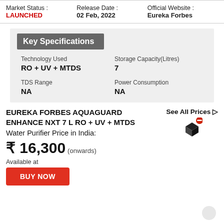Market Status : LAUNCHED | Release Date : 02 Feb, 2022 | Official Website : Eureka Forbes
Key Specifications
| Specification | Value |
| --- | --- |
| Technology Used | RO + UV + MTDS |
| Storage Capacity(Litres) | 7 |
| TDS Range | NA |
| Power Consumption | NA |
EUREKA FORBES AQUAGUARD ENHANCE NXT 7 L RO + UV + MTDS Water Purifier Price in India:
See All Prices ▷
₹ 16,300 (onwards)
Available at
BUY NOW